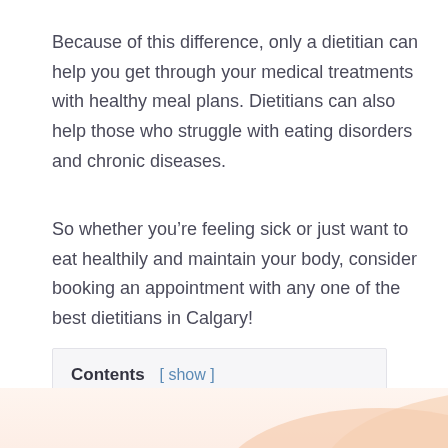Because of this difference, only a dietitian can help you get through your medical treatments with healthy meal plans. Dietitians can also help those who struggle with eating disorders and chronic diseases.
So whether you’re feeling sick or just want to eat healthily and maintain your body, consider booking an appointment with any one of the best dietitians in Calgary!
Contents [ show ]
1.  Andrea Hardy – Ignite Nutrition Calgary
[Figure (photo): Partial view of a hand, cropped at the bottom of the page]